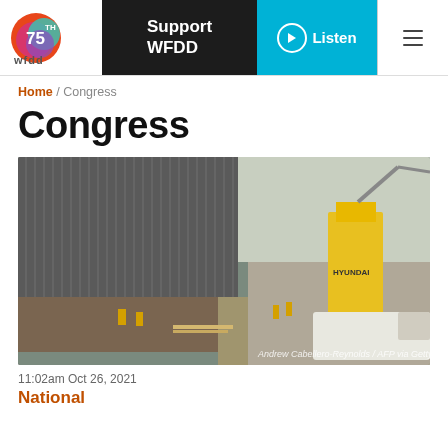WFDD 75th — Support WFDD | Listen | Menu
Home / Congress
Congress
[Figure (photo): Construction workers and a Hyundai crane working alongside a tall metal border wall. Workers in high-visibility vests are on the ground near the base of the fence. A white truck and heavy equipment are visible on the right side. Photo credit: Andrew Cabellero-Reynolds / AFP via Getty Images]
11:02am Oct 26, 2021
National